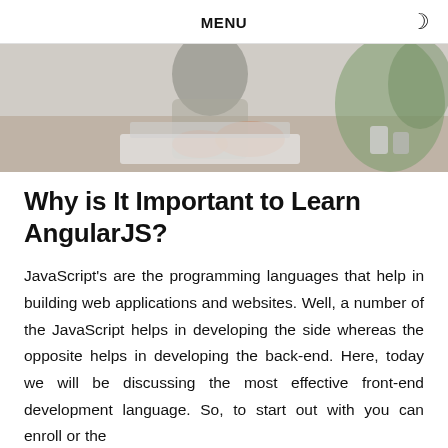MENU
[Figure (photo): A person working at a desk with a laptop, with a red banner in the upper right showing phone number 9711526942 and website www.cromacampus.com]
Why is It Important to Learn AngularJS?
JavaScript's are the programming languages that help in building web applications and websites. Well, a number of the JavaScript helps in developing the side whereas the opposite helps in developing the back-end. Here, today we will be discussing the most effective front-end development language. So, to start out with you can enroll or the